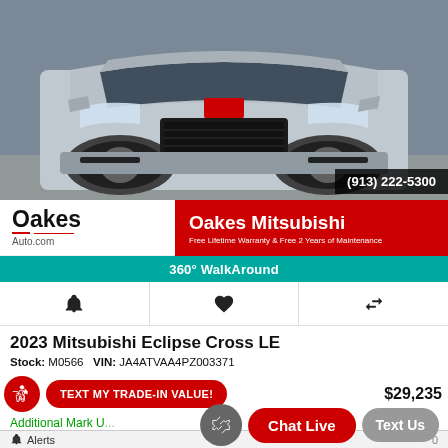[Figure (photo): Front view of a silver 2023 Mitsubishi Eclipse Cross LE SUV in a parking lot, with black wheels and a prominent grille. Phone number (913) 222-5300 overlaid in bottom-right corner.]
(913) 222-5300
[Figure (logo): Oakes Auto.com logo on white background on left; Oakes Mitsubishi red banner on right with text 'Free Lifetime Warranty & Free 2 Years of Maintenance']
360° WalkAround
[Figure (infographic): Three icon row: bell/alert icon, heart/favorite icon, compare arrows icon]
2023 Mitsubishi Eclipse Cross LE
Stock: M0566   VIN: JA4ATVAA4PZ003371
MSRP: TEXT MY TRADE-IN VALUE!  $29,235
Additional Mark U...
Alerts   Chat Live   Text Us   0